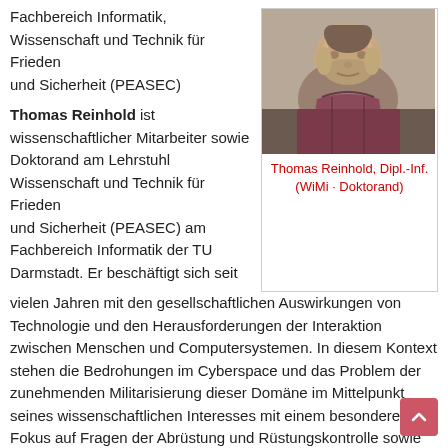Fachbereich Informatik, Wissenschaft und Technik für Frieden und Sicherheit (PEASEC)
[Figure (photo): Portrait photo of Thomas Reinhold, a man with a beard wearing a plaid shirt]
Thomas Reinhold, Dipl.-Inf. (WiMi · Doktorand)
Thomas Reinhold ist wissenschaftlicher Mitarbeiter sowie Doktorand am Lehrstuhl Wissenschaft und Technik für Frieden und Sicherheit (PEASEC) am Fachbereich Informatik der TU Darmstadt. Er beschäftigt sich seit vielen Jahren mit den gesellschaftlichen Auswirkungen von Technologie und den Herausforderungen der Interaktion zwischen Menschen und Computersystemen. In diesem Kontext stehen die Bedrohungen im Cyberspace und das Problem der zunehmenden Militarisierung dieser Domäne im Mittelpunkt seines wissenschaftlichen Interesses mit einem besonderen Fokus auf Fragen der Abrüstung und Rüstungskontrolle sowie den Problemen der Attribution im völkerrechtlichen Kontext.
Er hat Informatik und Psychologie an der Technischen Universität Chemnitz studiert. 2015 war er der Campaigner der Cyberpeace-Kampagne des Forum InformatikerInnen für Frieden und gesellschaftliche Verantwortung. Seit 2017 ist er Miglied des Transatlantic Cyber Forum und hat dort in unterschiedlichen Arbeitsgruppen zu nationalen sowie internationalen Cyber